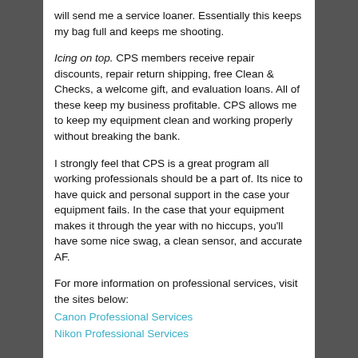will send me a service loaner.  Essentially this keeps my bag full and keeps me shooting.
Icing on top.  CPS members receive repair discounts, repair return shipping, free Clean & Checks, a welcome gift, and evaluation loans.  All of these keep my business profitable.  CPS allows me to keep my equipment clean and working properly without breaking the bank.
I strongly feel that CPS is a great program all working professionals should be a part of.  Its nice to have quick and personal support in the case your equipment fails.  In the case that your equipment makes it through the year with no hiccups, you'll have some nice swag, a clean sensor, and accurate AF.
For more information on professional services, visit the sites below:
Canon Professional Services
Nikon Professional Services